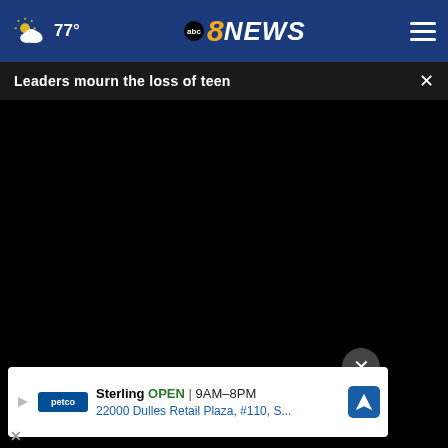77° abc 8 NEWS
Leaders mourn the loss of teen
[Figure (screenshot): Black video player screen with play controls, progress bar showing 00:00, mute button, CC button, and fullscreen button on dark control bar]
[Figure (photo): Colorful flower arrangement with orange, red, pink blooms against green background, partially visible below video player]
Sterling OPEN | 9AM–8PM 22000 Dulles Retail Plaza, #110, S... (Petco advertisement)